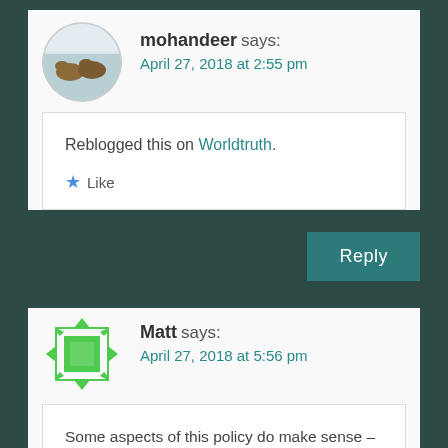[Figure (photo): Circular avatar image of horses running in snow]
mohandeer says: April 27, 2018 at 2:55 pm
Reblogged this on Worldtruth.
Like
Reply
[Figure (logo): Green geometric diamond/square pattern avatar for Matt]
Matt says: April 27, 2018 at 5:56 pm
Some aspects of this policy do make sense – when you are unemployed and said to be